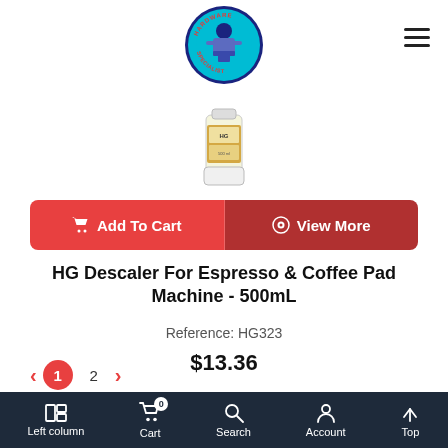[Figure (logo): Hardware Specialist circular logo with a worker figure holding tools, blue background, red and white text around the border]
[Figure (photo): HG Descaler product bottle, white and gold, 500mL]
Add To Cart
View More
HG Descaler For Espresso & Coffee Pad Machine - 500mL
Reference: HG323
$13.36
Left column  Cart 0  Search  Account  Top